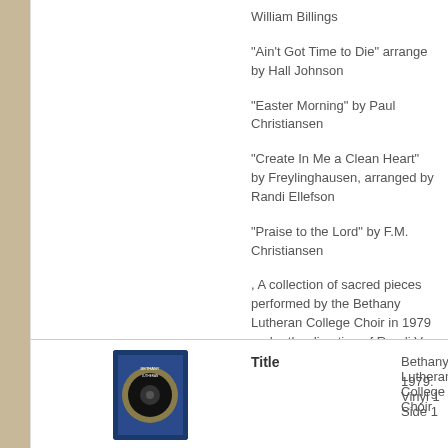William Billings
"Ain't Got Time to Die" arrange by Hall Johnson
"Easter Morning" by Paul Christiansen
"Create In Me a Clean Heart" by Freylinghausen, arranged by Randi Ellefson
"Praise to the Lord" by F.M. Christiansen
, A collection of sacred pieces performed by the Bethany Lutheran College Choir in 1979 under the direction of Randi V. Ellefson.
[Figure (photo): Vinyl record album thumbnail with blue and gold label]
Title
Bethany Lutheran College Choir 1979: Vinyl 1 Side 1